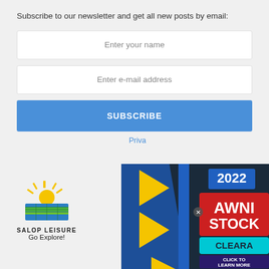Subscribe to our newsletter and get all new posts by email:
Enter your name
Enter e-mail address
SUBSCRIBE
Priv...
[Figure (logo): Salop Leisure logo with sun/landscape design, text SALOP LEISURE Go Explore!]
[Figure (infographic): 2022 Awning Stock Clearance advertisement with yellow and blue geometric shapes, red box, cyan text, and CLICK TO LEARN MORE button on dark background]